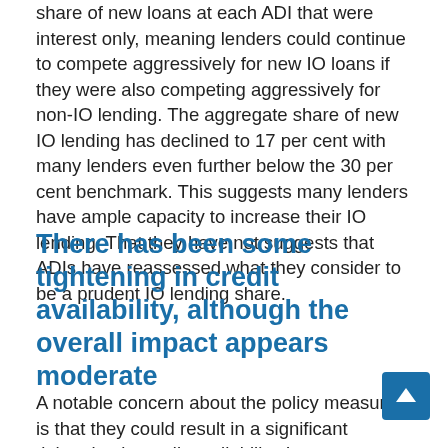share of new loans at each ADI that were interest only, meaning lenders could continue to compete aggressively for new IO loans if they were also competing aggressively for non-IO lending. The aggregate share of new IO lending has declined to 17 per cent with many lenders even further below the 30 per cent benchmark. This suggests many lenders have ample capacity to increase their IO lending. That they have not suggests that ADIs have reassessed what they consider to be a prudent IO lending share.
There has been some tightening in credit availability, although the overall impact appears moderate
A notable concern about the policy measures is that they could result in a significant tightening in credit availability. In a severe scenario, this could lead to a